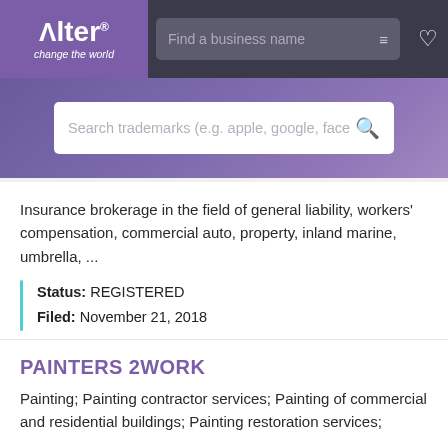[Figure (screenshot): Alter trademark search website header with purple logo box showing 'Alter change the world', a search bar saying 'Find a business name' with filter icon, and a heart/favorites icon on dark background]
[Figure (screenshot): Purple hero section with white search bar saying 'Search trademarks (e.g. apple, google, face' with magnifying glass icon]
Insurance brokerage in the field of general liability, workers' compensation, commercial auto, property, inland marine, umbrella, ...
Status: REGISTERED
Filed: November 21, 2018
PAINTERS 2WORK
Painting; Painting contractor services; Painting of commercial and residential buildings; Painting restoration services;